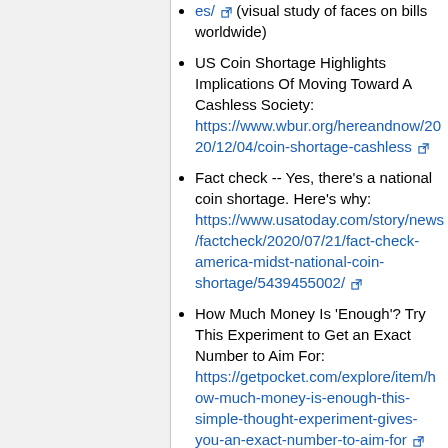es/ (visual study of faces on bills worldwide)
US Coin Shortage Highlights Implications Of Moving Toward A Cashless Society: https://www.wbur.org/hereandnow/2020/12/04/coin-shortage-cashless
Fact check -- Yes, there's a national coin shortage. Here's why: https://www.usatoday.com/story/news/factcheck/2020/07/21/fact-check-america-midst-national-coin-shortage/5439455002/
How Much Money Is 'Enough'? Try This Experiment to Get an Exact Number to Aim For: https://getpocket.com/explore/item/how-much-money-is-enough-this-simple-thought-experiment-gives-you-an-exact-number-to-aim-for